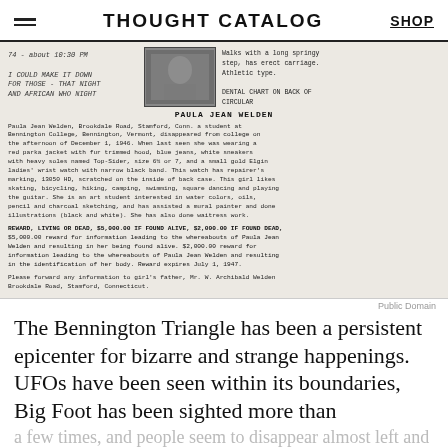THOUGHT CATALOG | SHOP
[Figure (photo): Scanned missing person circular for Paula Jean Welden, featuring handwritten notes, a photograph, and typewritten text with physical description, reward information, and contact details.]
Public Domain
The Bennington Triangle has been a persistent epicenter for bizarre and strange happenings. UFOs have been seen within its boundaries, Big Foot has been sighted more than a few times, and people seem to disappear almost left and right. One of the most prominent cases was that of Paula